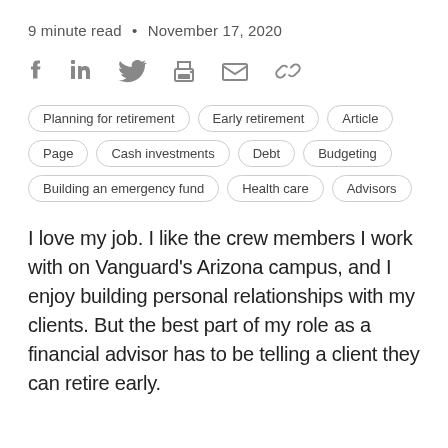9 minute read • November 17, 2020
[Figure (infographic): Social sharing icons: Facebook, LinkedIn, Twitter, Print, Email, Link/chain]
Planning for retirement
Early retirement
Article
Page
Cash investments
Debt
Budgeting
Building an emergency fund
Health care
Advisors
I love my job. I like the crew members I work with on Vanguard's Arizona campus, and I enjoy building personal relationships with my clients. But the best part of my role as a financial advisor has to be telling a client they can retire early.